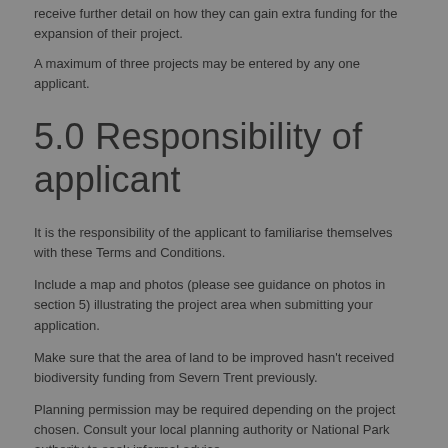receive further detail on how they can gain extra funding for the expansion of their project.
A maximum of three projects may be entered by any one applicant.
5.0 Responsibility of applicant
It is the responsibility of the applicant to familiarise themselves with these Terms and Conditions.
Include a map and photos (please see guidance on photos in section 5) illustrating the project area when submitting your application.
Make sure that the area of land to be improved hasn't received biodiversity funding from Severn Trent previously.
Planning permission may be required depending on the project chosen. Consult your local planning authority or National Park authority to seek informal advice.
Any capital items you install must comply with the relevant British